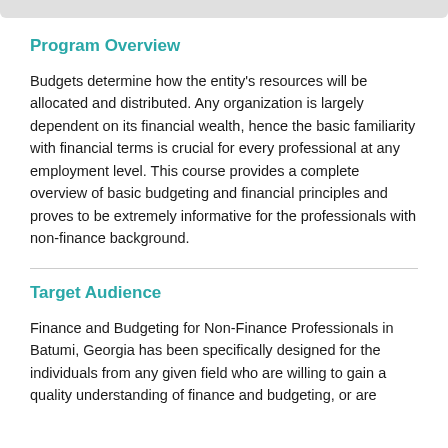Program Overview
Budgets determine how the entity's resources will be allocated and distributed. Any organization is largely dependent on its financial wealth, hence the basic familiarity with financial terms is crucial for every professional at any employment level. This course provides a complete overview of basic budgeting and financial principles and proves to be extremely informative for the professionals with non-finance background.
Target Audience
Finance and Budgeting for Non-Finance Professionals in Batumi, Georgia has been specifically designed for the individuals from any given field who are willing to gain a quality understanding of finance and budgeting, or are